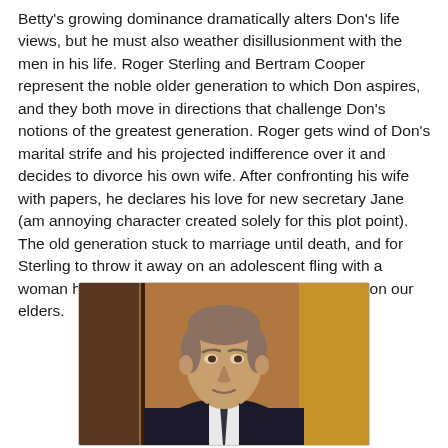Betty's growing dominance dramatically alters Don's life views, but he must also weather disillusionment with the men in his life. Roger Sterling and Bertram Cooper represent the noble older generation to which Don aspires, and they both move in directions that challenge Don's notions of the greatest generation. Roger gets wind of Don's marital strife and his projected indifference over it and decides to divorce his own wife. After confronting his wife with papers, he declares his love for new secretary Jane (am annoying character created solely for this plot point). The old generation stuck to marriage until death, and for Sterling to throw it away on an adolescent fling with a woman half his age scratches the veneer we place on our elders.
[Figure (photo): A middle-aged man in a dark suit with white shirt and dark tie, photographed from approximately chest up, with a wood-paneled door or wall visible in the background. The man has short grey-brown hair and a composed expression.]